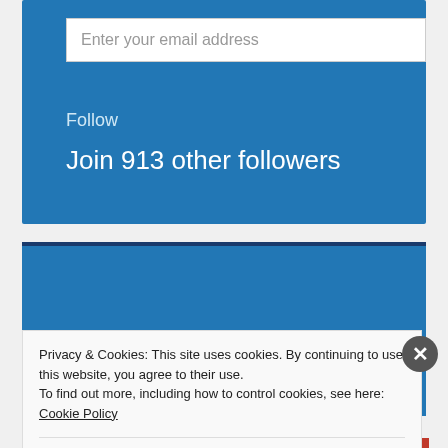Enter your email address
Follow
Join 913 other followers
Privacy & Cookies: This site uses cookies. By continuing to use this website, you agree to their use.
To find out more, including how to control cookies, see here: Cookie Policy
Close and accept